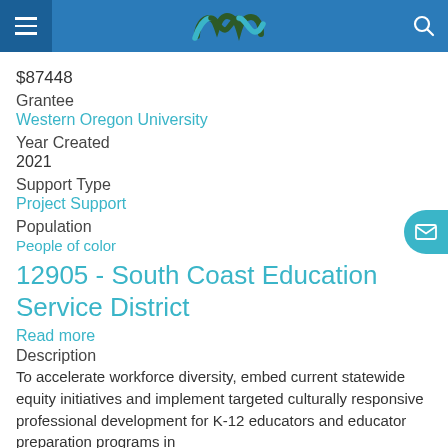Meyer Memorial Trust navigation header with logo
$87448
Grantee
Western Oregon University
Year Created
2021
Support Type
Project Support
Population
People of color
12905 - South Coast Education Service District
Read more
Description
To accelerate workforce diversity, embed current statewide equity initiatives and implement targeted culturally responsive professional development for K-12 educators and educator preparation programs in